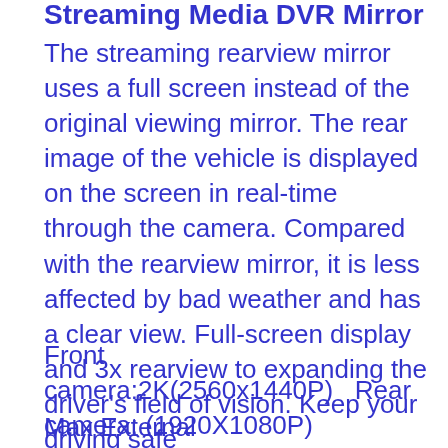Streaming Media DVR Mirror
The streaming rearview mirror uses a full screen instead of the original viewing mirror. The rear image of the vehicle is displayed on the screen in real-time through the camera. Compared with the rearview mirror, it is less affected by bad weather and has a clear view. Full-screen display and 3x rearview to expanding the driver's field of vision. Keep your driving safe
Front camera:2K(2560x1440P)   Rear camera: (1920X1080P)
Max External Memory:128G   Greater